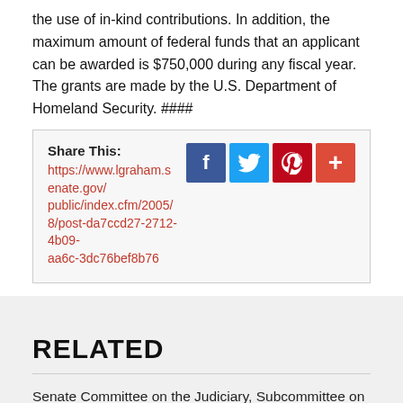the use of in-kind contributions. In addition, the maximum amount of federal funds that an applicant can be awarded is $750,000 during any fiscal year. The grants are made by the U.S. Department of Homeland Security. ####
Share This: https://www.lgraham.senate.gov/public/index.cfm/2005/8/post-da7ccd27-2712-4b09-aa6c-3dc76bef8b76
RELATED
Senate Committee on the Judiciary, Subcommittee on Crime and Terrorism
Office Locations